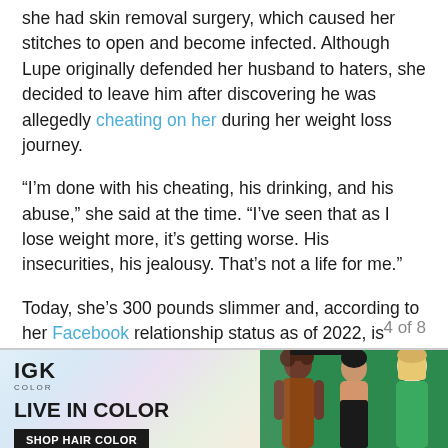she had skin removal surgery, which caused her stitches to open and become infected. Although Lupe originally defended her husband to haters, she decided to leave him after discovering he was allegedly cheating on her during her weight loss journey.
“I’m done with his cheating, his drinking, and his abuse,” she said at the time. “I’ve seen that as I lose weight more, it’s getting worse. His insecurities, his jealousy. That’s not a life for me.”
Today, she’s 300 pounds slimmer and, according to her Facebook relationship status as of 2022, is enjoying the single life.
4 of 8
[Figure (advertisement): IGK Color advertisement with 'LIVE IN COLOR' headline, 'SHOP HAIR COLOR' button, and photo of three women models]